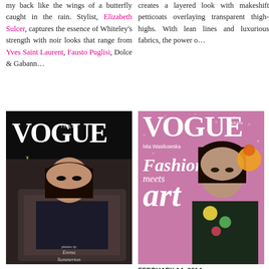my back like the wings of a butterfly caught in the rain. Stylist, Elizabeth Sulcer, captures the essence of Whiteley's strength with noir looks that range from Yves Saint Laurent, Fausto Puglisi, Dolce & Gabann…
creates a layered look with makeshift petticoats overlaying transparent thigh-highs. With lean lines and luxurious fabrics, the power o…
[Figure (photo): Vogue Italia beauty cover featuring a woman in dark fur coat, lying on white bed. Text reads: VOGUE ITALIA beauty, photos by Emma Summerton]
[Figure (photo): Vogue Arabia cover featuring Mia Wasikowska. Text reads: VOGUE, Mia Wasikowska, Fashion meets art. February 14, 2014]
FEBRUARY 14, 2014